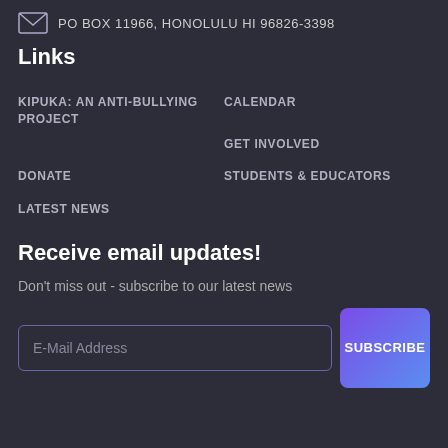PO BOX 11966, HONOLULU HI 96826-3398
Links
KIPUKA: AN ANTI-BULLYING PROJECT
CALENDAR
GET INVOLVED
DONATE
STUDENTS & EDUCATORS
LATEST NEWS
Receive email updates!
Don't miss out - subscribe to our latest news
E-Mail Address
SUBSCRIBE